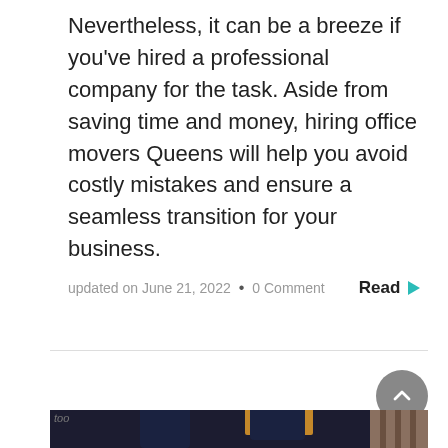Nevertheless, it can be a breeze if you've hired a professional company for the task. Aside from saving time and money, hiring office movers Queens will help you avoid costly mistakes and ensure a seamless transition for your business.
updated on June 21, 2022 • 0 Comment    Read ▶
[Figure (photo): Two movers in blue uniforms and caps carrying cardboard boxes outdoors, with a building and cloudy sky in the background.]